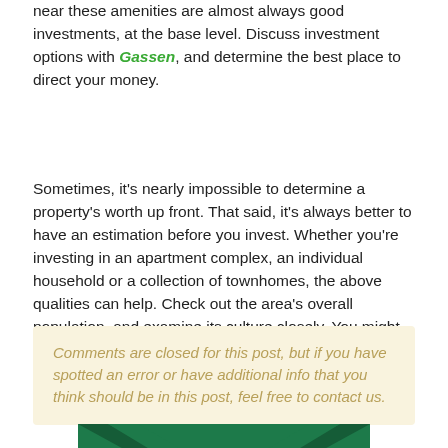near these amenities are almost always good investments, at the base level. Discuss investment options with Gassen, and determine the best place to direct your money.
Sometimes, it's nearly impossible to determine a property's worth up front. That said, it's always better to have an estimation before you invest. Whether you're investing in an apartment complex, an individual household or a collection of townhomes, the above qualities can help. Check out the area's overall population, and examine its culture closely. You might find information which eludes other investors.
Comments are closed for this post, but if you have spotted an error or have additional info that you think should be in this post, feel free to contact us.
[Figure (logo): Green logo with dark chevron/arrow shapes on a green background]